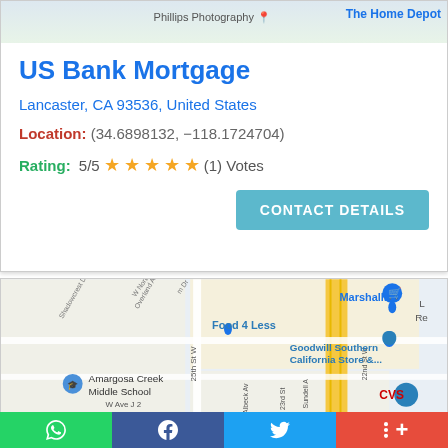[Figure (map): Partial map view showing Phillips Photography and The Home Depot location strip at top]
US Bank Mortgage
Lancaster, CA 93536, United States
Location: (34.6898132, -118.1724704)
Rating: 5/5 ★★★★★ (1) Votes
CONTACT DETAILS
[Figure (map): Street map of Lancaster CA area showing Marshalls, Food 4 Less, Goodwill Southern California Store, Amargosa Creek Middle School, CVS, and surrounding streets including 25th St W, W Ave J 2, W Norberry St]